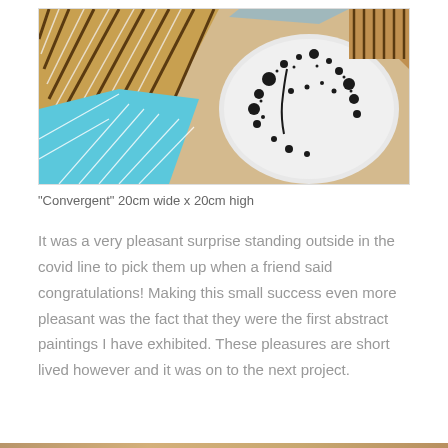[Figure (illustration): Abstract painting titled 'Convergent' showing diagonal stripes of brown and tan colors on the left, a blue geometric shape in the lower left, and black ink splatter marks on a white/grey circular form on the right, with beige/sand background.]
"Convergent" 20cm wide x 20cm high
It was a very pleasant surprise standing outside in the covid line to pick them up when a friend said congratulations! Making this small success even more pleasant was the fact that they were the first abstract paintings I have exhibited. These pleasures are short lived however and it was on to the next project.